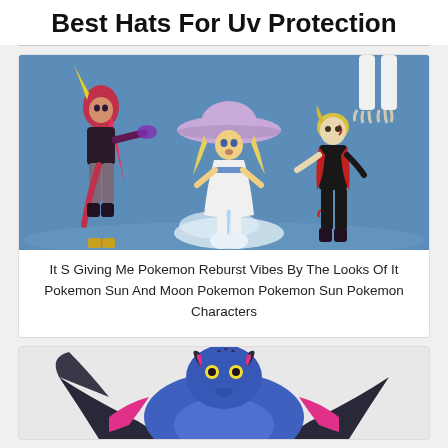Best Hats For Uv Protection
[Figure (illustration): Anime-style illustration of Pokemon Sun and Moon characters on a blue background. Characters include a dark-haired girl with pink highlights in a dark outfit, a blonde girl in a white dress wearing a large lavender sun hat, a blonde boy in a dark outfit with red accents, and partial view of Pokemon legs at top right.]
It S Giving Me Pokemon Reburst Vibes By The Looks Of It Pokemon Sun And Moon Pokemon Pokemon Sun Pokemon Characters
[Figure (illustration): Anime-style illustration of a blue bat-like Pokemon (Noivern or similar) with pink and dark wing accents, partially visible at the bottom of the page.]